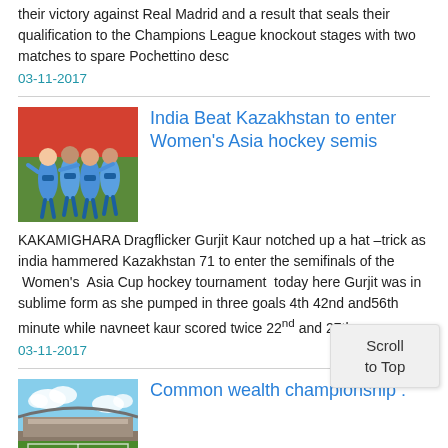their victory against Real Madrid and a result that seals their qualification to the Champions League knockout stages with two matches to spare Pochettino desc
03-11-2017
India Beat Kazakhstan to enter Women's Asia hockey semis
[Figure (photo): Photo of Indian women's hockey team players in blue jerseys celebrating]
KAKAMIGHARA Dragflicker Gurjit Kaur notched up a hat –trick as india hammered Kazakhstan 71 to enter the semifinals of the Women's Asia Cup hockey tournament today here Gurjit was in sublime form as she pumped in three goals 4th 42nd and56th minute while navneet kaur scored twice 22nd and 27th m
03-11-2017
Common wealth championship :
[Figure (photo): Photo of a stadium with green field and blue sky]